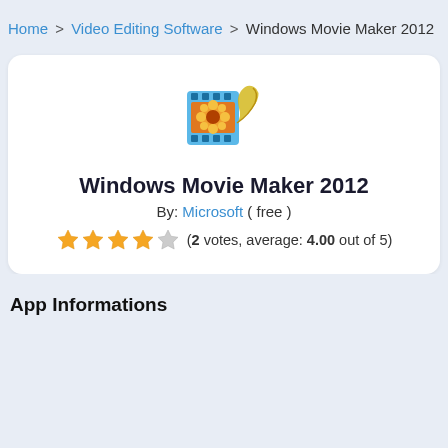Home > Video Editing Software > Windows Movie Maker 2012
[Figure (logo): Windows Movie Maker 2012 application icon — a film strip roll with an orange flower/sunburst image, curling with a blue film reel style]
Windows Movie Maker 2012
By: Microsoft ( free )
(2 votes, average: 4.00 out of 5)
App Informations